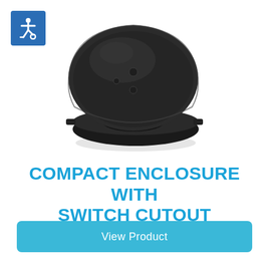[Figure (photo): Compact black plastic enclosure with switch cutout, shown open with the hinged lid raised, viewed from an angle. The base has an oval cutout opening and the lid is dome-shaped and dark translucent.]
COMPACT ENCLOSURE WITH SWITCH CUTOUT
View Product